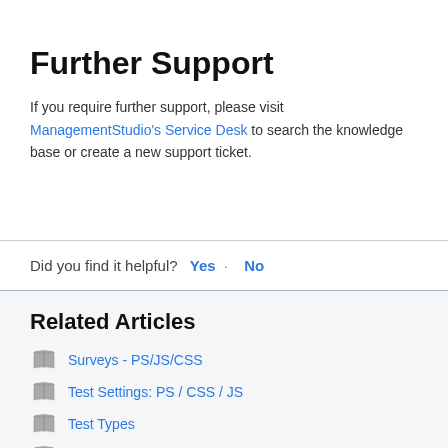Further Support
If you require further support, please visit ManagementStudio's Service Desk to search the knowledge base or create a new support ticket.
Did you find it helpful?  Yes  ·  No
Related Articles
Surveys - PS/JS/CSS
Test Settings: PS / CSS / JS
Test Types
Allocating Devices to a Test Pool
How to Override a Survey Status (Pass, Fail, Incomplete)